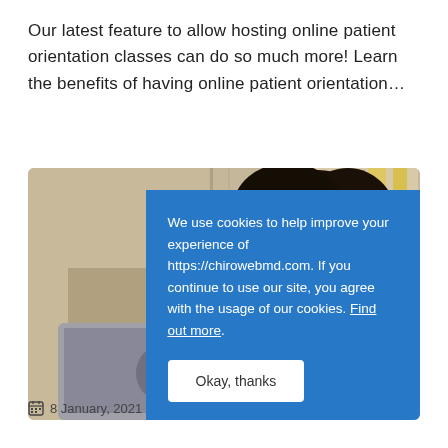Our latest feature to allow hosting online patient orientation classes can do so much more! Learn the benefits of having online patient orientation…
[Figure (photo): A person with curly hair peeking over a laptop, with a wooden background. A cookie consent overlay is displayed on the lower right of the image.]
We use cookies to help improve your experience of https://chirowebmd.com. If you continue to use our site, you agree with the usage of our cookies. Find out more.
Okay, thanks
8 January, 2021